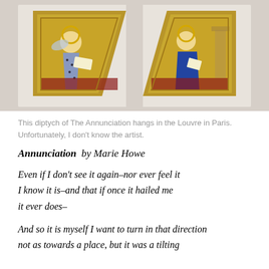[Figure (photo): A diptych painting of The Annunciation hanging in the Louvre in Paris. Two triangular-shaped panels in gold frames are shown side by side: the left panel depicts an angel in a blue floral robe with a scroll, kneeling against a gold background; the right panel shows the Virgin Mary in blue robes seated and reading, also against a gold background with architectural elements.]
This diptych of The Annunciation hangs in the Louvre in Paris. Unfortunately, I don't know the artist.
Annunciation  by Marie Howe
Even if I don't see it again–nor ever feel it
I know it is–and that if once it hailed me
it ever does–
And so it is myself I want to turn in that direction
not as towards a place, but it was a tilting